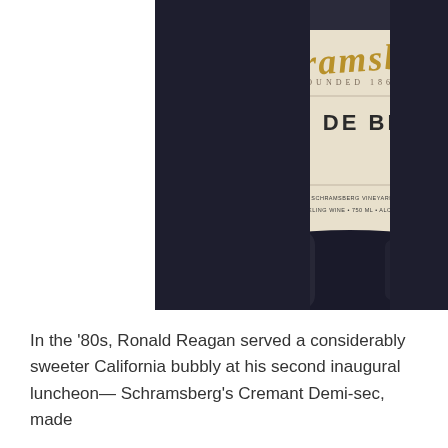[Figure (photo): Close-up photo of a Schramsberg Blanc de Blancs sparkling wine bottle label. The label shows the Schramsberg cursive logo at top, 'BLANC DE BLANCS' in bold uppercase, 'METHODE TRADITIONNELLE' on the left, 'BRUT VINTAGE 2010' on the right, and small text at the bottom about producer and alcohol content.]
In the '80s, Ronald Reagan served a considerably sweeter California bubbly at his second inaugural luncheon—Schramsberg's Cremant Demi-sec, made